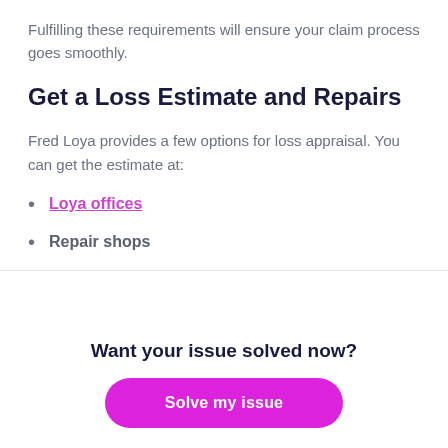Fulfilling these requirements will ensure your claim process goes smoothly.
Get a Loss Estimate and Repairs
Fred Loya provides a few options for loss appraisal. You can get the estimate at:
Loya offices
Repair shops
Want your issue solved now?
Solve my issue